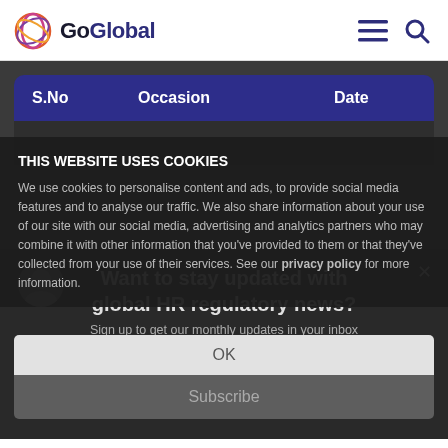[Figure (logo): GoGlobal logo with circular multi-color icon and dark text]
| S.No | Occasion | Date |
| --- | --- | --- |
THIS WEBSITE USES COOKIES
We use cookies to personalise content and ads, to provide social media features and to analyse our traffic. We also share information about your use of our site with our social media, advertising and analytics partners who may combine it with other information that you’ve provided to them or that they’ve collected from your use of their services. See our privacy policy for more information.
Want to stay updated with global HR regulatory news?
Sign up to get our monthly updates in your inbox
OK
Subscribe